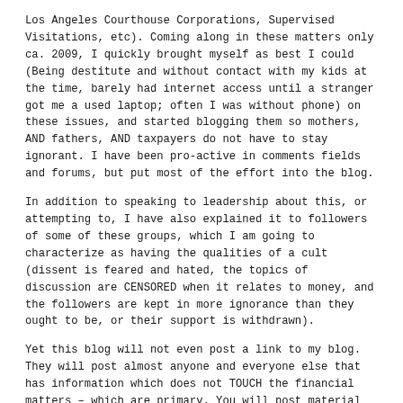Los Angeles Courthouse Corporations, Supervised Visitations, etc). Coming along in these matters only ca. 2009, I quickly brought myself as best I could (Being destitute and without contact with my kids at the time, barely had internet access until a stranger got me a used laptop; often I was without phone) on these issues, and started blogging them so mothers, AND fathers, AND taxpayers do not have to stay ignorant. I have been pro-active in comments fields and forums, but put most of the effort into the blog.
In addition to speaking to leadership about this, or attempting to, I have also explained it to followers of some of these groups, which I am going to characterize as having the qualities of a cult (dissent is feared and hated, the topics of discussion are CENSORED when it relates to money, and the followers are kept in more ignorance than they ought to be, or their support is withdrawn).
Yet this blog will not even post a link to my blog. They will post almost anyone and everyone else that has information which does not TOUCH the financial matters – which are primary. You will post material from Anne Stevenson's expose of the AFCC – but will not follow up on the topic as I have, and as she has, nor encouraged people to comprehend what the word "Incorporation" even means, and what it means when a court-connected referral is NOT incorporated.
Although Marv Bryer exposed this (with others, including Richard Fine, attorney) and it was blogged in a series of articles in "Insight Magazine" around the turn of